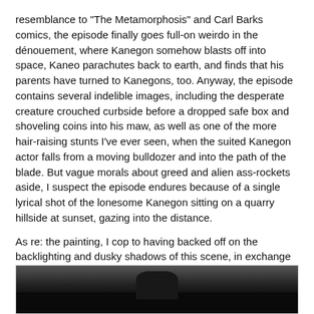resemblance to "The Metamorphosis" and Carl Barks comics, the episode finally goes full-on weirdo in the dénouement, where Kanegon somehow blasts off into space, Kaneo parachutes back to earth, and finds that his parents have turned to Kanegons, too. Anyway, the episode contains several indelible images, including the desperate creature crouched curbside before a dropped safe box and shoveling coins into his maw, as well as one of the more hair-raising stunts I've ever seen, when the suited Kanegon actor falls from a moving bulldozer and into the path of the blade. But vague morals about greed and alien ass-rockets aside, I suspect the episode endures because of a single lyrical shot of the lonesome Kanegon sitting on a quarry hillside at sunset, gazing into the distance.
As re: the painting, I cop to having backed off on the backlighting and dusky shadows of this scene, in exchange for a clearer look at this classic monster suit. Relatively trustworthy color documentation exists, but I chose to depict the scene in Ultra Q-accurate black and white.
[Figure (photo): Dark black and white photograph showing a silhouetted figure or monster suit scene, partially visible at the bottom of the page.]